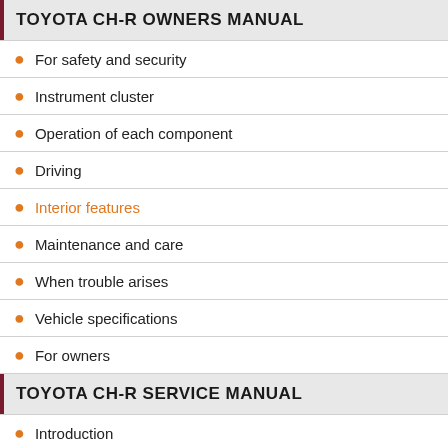TOYOTA CH-R OWNERS MANUAL
For safety and security
Instrument cluster
Operation of each component
Driving
Interior features
Maintenance and care
When trouble arises
Vehicle specifications
For owners
TOYOTA CH-R SERVICE MANUAL
Introduction
Maintenance
Audio / Video
Cellular Communication